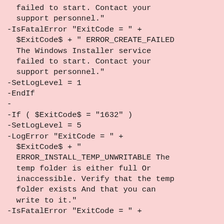failed to start. Contact your
support personnel."
-IsFatalError "ExitCode = " +
 $ExitCode$ + " ERROR_CREATE_FAILED
 The Windows Installer service
 failed to start. Contact your
 support personnel."
-SetLogLevel = 1
-EndIf
-
-If ( $ExitCode$ = "1632" )
-SetLogLevel = 5
-LogError "ExitCode = " +
 $ExitCode$ + "
 ERROR_INSTALL_TEMP_UNWRITABLE The
 temp folder is either full Or
 inaccessible. Verify that the temp
 folder exists And that you can
 write to it."
-IsFatalError "ExitCode = " +